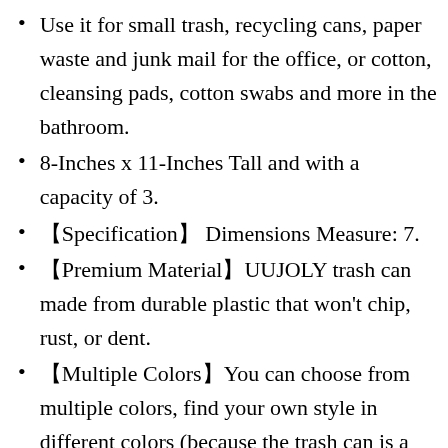Use it for small trash, recycling cans, paper waste and junk mail for the office, or cotton, cleansing pads, cotton swabs and more in the bathroom.
8-Inches x 11-Inches Tall and with a capacity of 3.
【Specification】Dimensions Measure: 7.
【Premium Material】UUJOLY trash can made from durable plastic that won't chip, rust, or dent.
【Multiple Colors】You can choose from multiple colors, find your own style in different colors (because the trash can is a single color, so the color may have a color